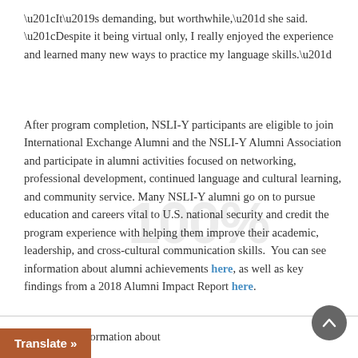“It’s demanding, but worthwhile,” she said. “Despite it being virtual only, I really enjoyed the experience and learned many new ways to practice my language skills.”
After program completion, NSLI-Y participants are eligible to join International Exchange Alumni and the NSLI-Y Alumni Association and participate in alumni activities focused on networking, professional development, continued language and cultural learning, and community service. Many NSLI-Y alumni go on to pursue education and careers vital to U.S. national security and credit the program experience with helping them improve their academic, leadership, and cross-cultural communication skills.  You can see information about alumni achievements here, as well as key findings from a 2018 Alumni Impact Report here.
d out more information about